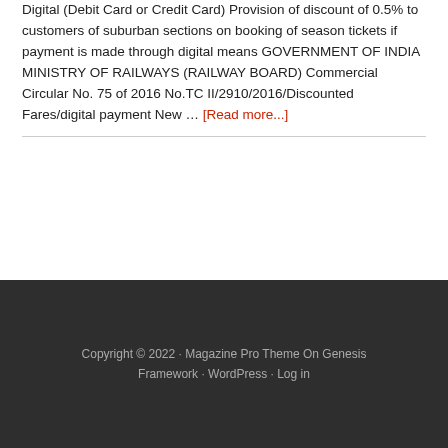Discount of 0.5% on season ticket booking through Digital (Debit Card or Credit Card) Provision of discount of 0.5% to customers of suburban sections on booking of season tickets if payment is made through digital means GOVERNMENT OF INDIA MINISTRY OF RAILWAYS (RAILWAY BOARD) Commercial Circular No. 75 of 2016 No.TC II/2910/2016/Discounted Fares/digital payment New … [Read more...]
Copyright © 2022 · Magazine Pro Theme On Genesis Framework · WordPress · Log in